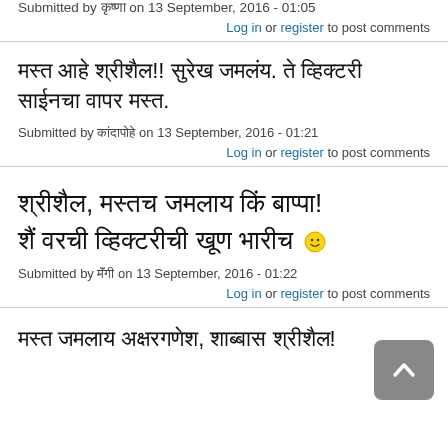Submitted by कृष्णा on 13 September, 2016 - 01:05
Log in or register to post comments
मस्त आहे श्रीशैल!! सुरेख जमलंय. ते व्हिक्टरी साईनचा वापर मस्त.
Submitted by कांदापोहे on 13 September, 2016 - 01:21
Log in or register to post comments
श्रीशैल, मस्तच जमलाय किं बाप्पा!
शैं वरची व्हिक्टरीची खूण भारीच 😊
Submitted by मॅंगी on 13 September, 2016 - 01:22
Log in or register to post comments
मस्त जमलाय अक्षरगणेश, शाब्बास श्रीशैल!